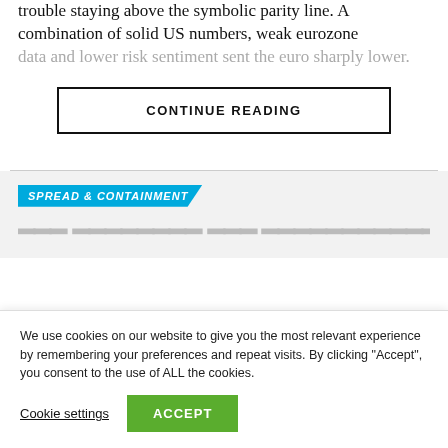trouble staying above the symbolic parity line. A combination of solid US numbers, weak eurozone data and lower risk sentiment sent the euro sharply lower.
CONTINUE READING
SPREAD & CONTAINMENT
We use cookies on our website to give you the most relevant experience by remembering your preferences and repeat visits. By clicking "Accept", you consent to the use of ALL the cookies.
Cookie settings
ACCEPT